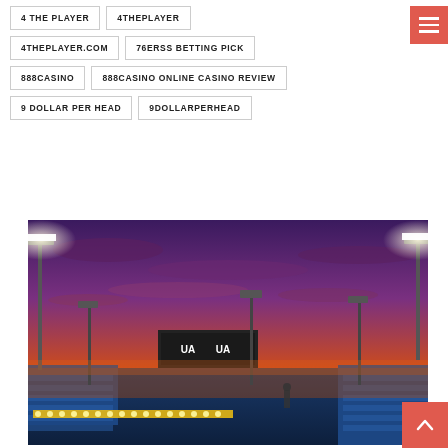4 THE PLAYER
4THEPLAYER
4THEPLAYER.COM
76ERSS BETTING PICK
888CASINO
888CASINO ONLINE CASINO REVIEW
9 DOLLAR PER HEAD
9DOLLARPERHEAD
[Figure (photo): A football stadium at sunset/dusk with stadium lights on, Under Armour signage visible on a scoreboard, vivid orange and purple sky.]